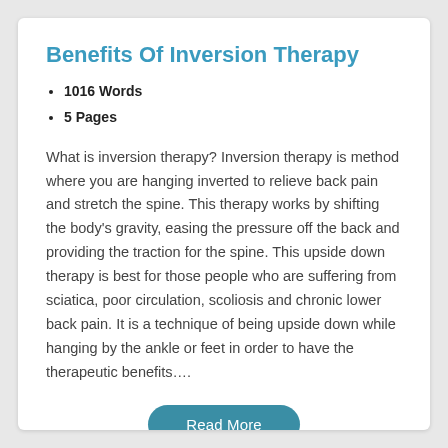Benefits Of Inversion Therapy
1016 Words
5 Pages
What is inversion therapy? Inversion therapy is method where you are hanging inverted to relieve back pain and stretch the spine. This therapy works by shifting the body's gravity, easing the pressure off the back and providing the traction for the spine. This upside down therapy is best for those people who are suffering from sciatica, poor circulation, scoliosis and chronic lower back pain. It is a technique of being upside down while hanging by the ankle or feet in order to have the therapeutic benefits….
Read More